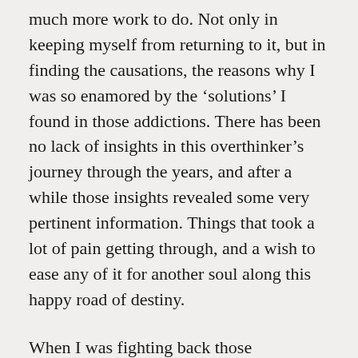much more work to do. Not only in keeping myself from returning to it, but in finding the causations, the reasons why I was so enamored by the ‘solutions’ I found in those addictions. There has been no lack of insights in this overthinker’s journey through the years, and after a while those insights revealed some very pertinent information. Things that took a lot of pain getting through, and a wish to ease any of it for another soul along this happy road of destiny.
When I was fighting back those discomforting feelings in the meetings, and the theme revolved around fragility, I saw something else. The reason why the program works is because